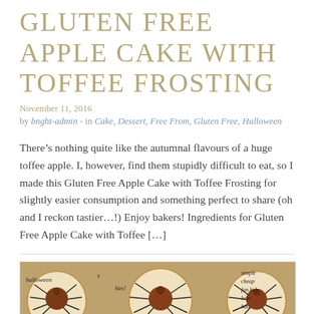GLUTEN FREE APPLE CAKE WITH TOFFEE FROSTING
November 11, 2016
by bnght-admin - in Cake, Dessert, Free From, Gluten Free, Halloween
There’s nothing quite like the autumnal flavours of a huge toffee apple. I, however, find them stupidly difficult to eat, so I made this Gluten Free Apple Cake with Toffee Frosting for slightly easier consumption and something perfect to share (oh and I reckon tastier…!) Enjoy bakers! Ingredients for Gluten Free Apple Cake with Toffee […]
[Figure (photo): Photo of Halloween spider cookies on a brown background with handwritten text including 'halloween', 'simple', 'cheap', 'fun', 'kids', 'love', 'bdo']